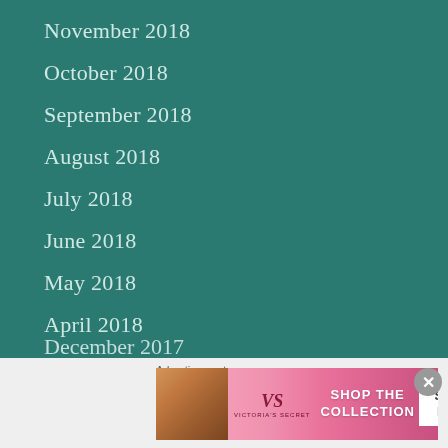November 2018
October 2018
September 2018
August 2018
July 2018
June 2018
May 2018
April 2018
March 2018
February 2018
January 2018
December 2017
[Figure (illustration): Victoria's Secret advertisement banner showing a model, VS logo with 'VICTORIA'S SECRET' text, 'SHOP THE COLLECTION' text, and a 'SHOP NOW' button on a pink gradient background. An X close button appears in the top-right corner of the ad overlay area.]